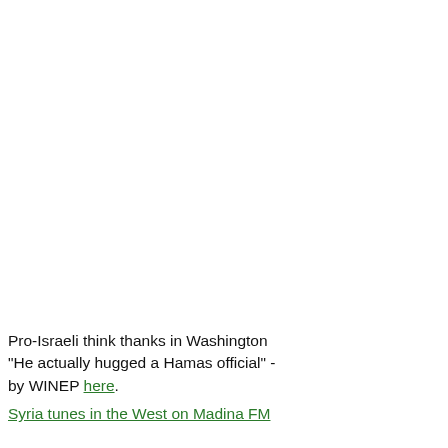They asked him about the arming and Afghanistan in December 1979. They Syrian-US relations if Obama made it frowned on by decision-makers in Wa visiting a nation "that disrupts regiona terrorism".
The psychological shock of seeing Br however, compared with what happen capital on April 18 to meet not only As of the political bureau of Hamas, a Pa brands a "terrorist organization". ….
The Carter Center explained the trip, momentum for current efforts to secu said, "I feel quiet at ease in doing this mind that if Israel is ever going to find relationship with their next door neigh have to be included in the process."
Pro-Israeli think thanks in Washington "He actually hugged a Hamas official" - by WINEP here.
Syria tunes in the West on Madina FM
[Figure (photo): Small image placeholder at bottom right]